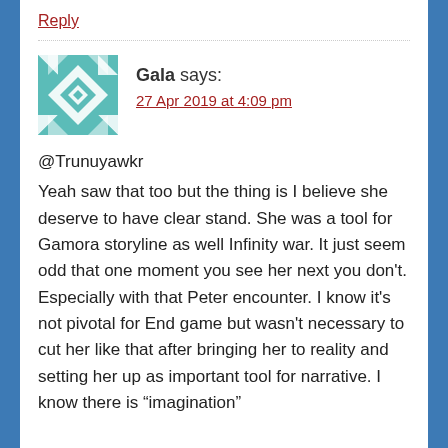Reply
[Figure (illustration): Teal/white geometric avatar with quilt-like pattern for user Gala]
Gala says:
27 Apr 2019 at 4:09 pm
@Trunuyawkr
Yeah saw that too but the thing is I believe she deserve to have clear stand. She was a tool for Gamora storyline as well Infinity war. It just seem odd that one moment you see her next you don't. Especially with that Peter encounter. I know it's not pivotal for End game but wasn't necessary to cut her like that after bringing her to reality and setting her up as important tool for narrative. I know there is “imagination”